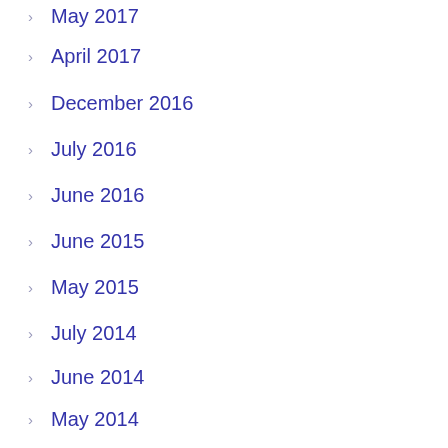May 2017
April 2017
December 2016
July 2016
June 2016
June 2015
May 2015
July 2014
June 2014
May 2014
April 2014